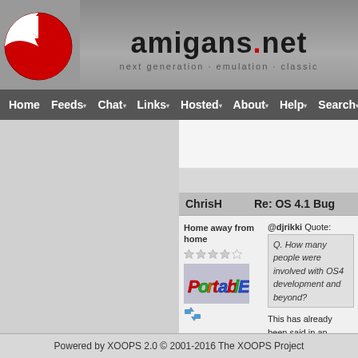amigans.net — next generation · emulation · classic
Home  Feeds  Chat  Links  Hosted  About  Help  Search
ChrisH
Re: OS 4.1 Bug
Home away from home
[Figure (illustration): Colorful 'Portable' text logo graphic]
@djrikki Quote:
Q. How many people were involved with OS4 development and beyond?
This has already been said in an interview, sa when (except it to recall "low/hi mentioned, alth upper limit, I ca
Powered by XOOPS 2.0 © 2001-2016 The XOOPS Project